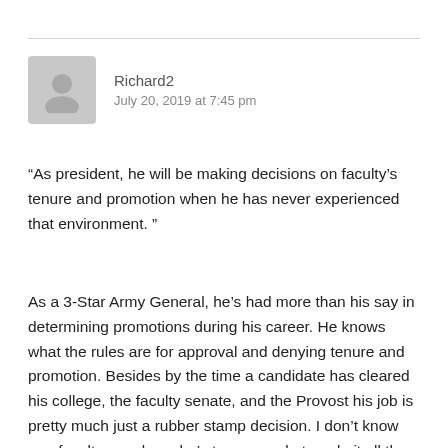[Figure (illustration): Gray avatar silhouette icon]
Richard2
July 20, 2019 at 7:45 pm
“As president, he will be making decisions on faculty’s tenure and promotion when he has never experienced that environment. ”
As a 3-Star Army General, he’s had more than his say in determining promotions during his career. He knows what the rules are for approval and denying tenure and promotion. Besides by the time a candidate has cleared his college, the faculty senate, and the Provost his job is pretty much just a rubber stamp decision. I don’t know one faculty member who’s tenure packet made it all the way to the President’s desk only to be denied. I have heard one made it to the